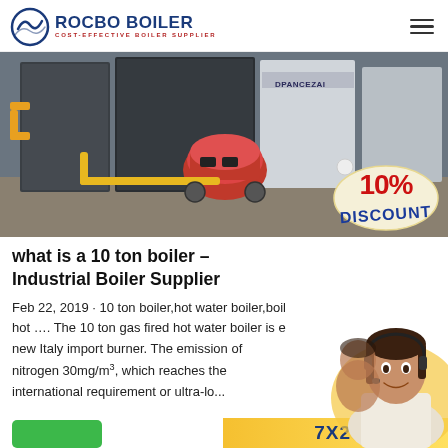ROCBO BOILER — COST-EFFECTIVE BOILER SUPPLIER
[Figure (photo): Industrial boiler equipment in a warehouse setting with a red burner unit and yellow piping in the foreground; white boiler units visible in the background. A 10% DISCOUNT badge overlaid in the bottom-right corner.]
what is a 10 ton boiler – Industrial Boiler Supplier
Feb 22, 2019 · 10 ton boiler,hot water boiler,boil hot …. The 10 ton gas fired hot water boiler is e new Italy import burner. The emission of nitrogen 30mg/m³, which reaches the international requirement or ultra-lo...